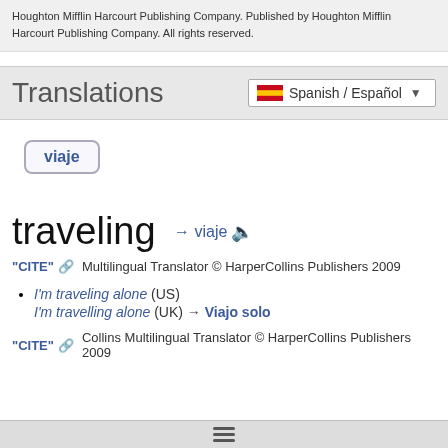Houghton Mifflin Harcourt Publishing Company. Published by Houghton Mifflin Harcourt Publishing Company. All rights reserved.
Translations
Spanish / Español
viaje
traveling → viaje
"CITE" ↔ Multilingual Translator © HarperCollins Publishers 2009
I'm traveling alone (US)
I'm travelling alone (UK) → Viajo solo
"CITE" ↔ Collins Multilingual Translator © HarperCollins Publishers 2009